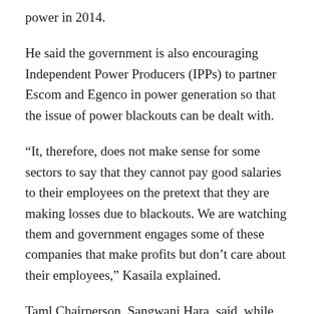power in 2014.
He said the government is also encouraging Independent Power Producers (IPPs) to partner Escom and Egenco in power generation so that the issue of power blackouts can be dealt with.
“It, therefore, does not make sense for some sectors to say that they cannot pay good salaries to their employees on the pretext that they are making losses due to blackouts. We are watching them and government engages some of these companies that make profits but don’t care about their employees,” Kasaila explained.
Taml Chairperson, Sangwani Hara, said, while the government has embarked on various investment projects in the energy sector, speed is of essence.